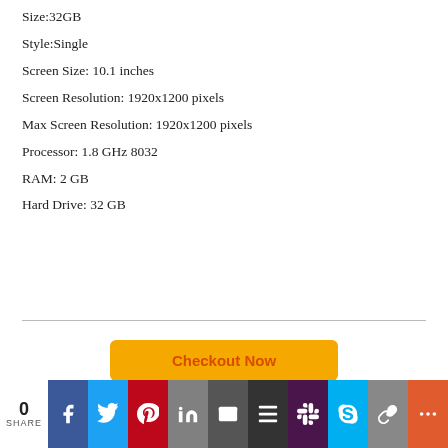Size:32GB
Style:Single
Screen Size: 10.1 inches
Screen Resolution: 1920x1200 pixels
Max Screen Resolution: 1920x1200 pixels
Processor: 1.8 GHz 8032
RAM: 2 GB
Hard Drive: 32 GB
Checkout Now
0 SHARE | Social share bar: Facebook, Twitter, Pinterest, LinkedIn, Email, Buffer, Slack, Skype, Chain, More